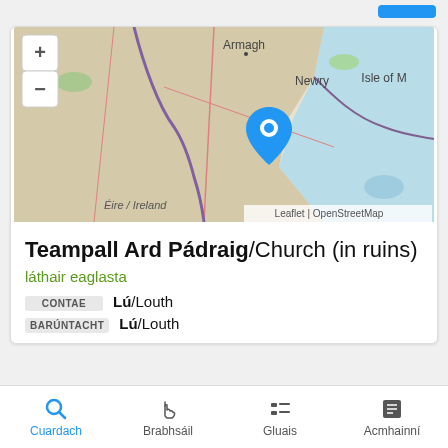[Figure (map): Interactive map showing location near Newry, Northern Ireland/Republic of Ireland border area, with place marker pin. Labels: Armagh, Newry, Isle of M[an], Éire / Ireland, Leaflet | OpenStreetMap]
Teampall Ard Pádraig/Church (in ruins)
láthair eaglasta
| Label | Value |
| --- | --- |
| CONTAE | Lú/Louth |
| BARÚNTACHT | Lú/Louth |
Cuardach  Brabhsáil  Gluais  Acmhainní